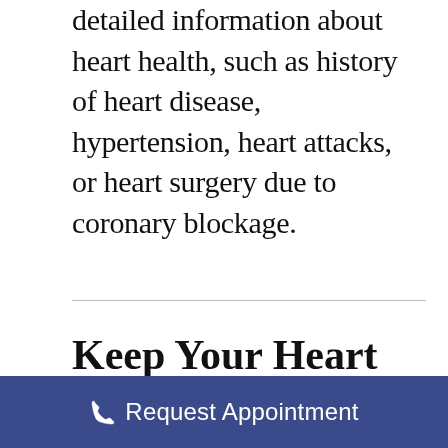detailed information about heart health, such as history of heart disease, hypertension, heart attacks, or heart surgery due to coronary blockage.
Keep Your Heart Healthy
There are plenty of easy ways to improve your heart health. Instead of a list of don’ts, we’ll keep it positive. Here are three easy things you can do to head toward heart health.
☎ Request Appointment